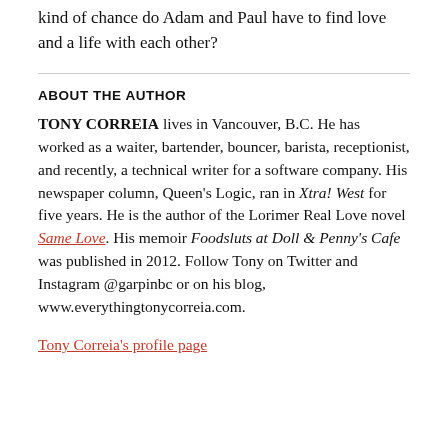kind of chance do Adam and Paul have to find love and a life with each other?
ABOUT THE AUTHOR
TONY CORREIA lives in Vancouver, B.C. He has worked as a waiter, bartender, bouncer, barista, receptionist, and recently, a technical writer for a software company. His newspaper column, Queen's Logic, ran in Xtra! West for five years. He is the author of the Lorimer Real Love novel Same Love. His memoir Foodsluts at Doll & Penny's Cafe was published in 2012. Follow Tony on Twitter and Instagram @garpinbc or on his blog, www.everythingtonycorreia.com.
Tony Correia's profile page